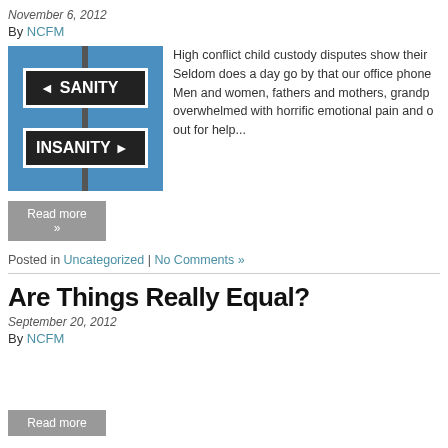November 6, 2012
By NCFM
[Figure (photo): Street signs showing SANITY pointing left and INSANITY pointing right on a blue sky background]
High conflict child custody disputes show their... Seldom does a day go by that our office phone... Men and women, fathers and mothers, grandp... overwhelmed with horrific emotional pain and o... out for help...
Read more »
Posted in Uncategorized | No Comments »
Are Things Really Equal?
September 20, 2012
By NCFM
Read more »